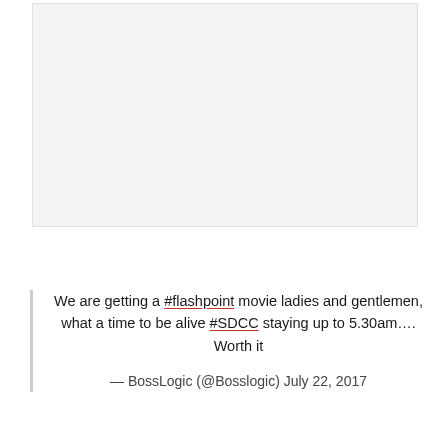[Figure (photo): A large image placeholder area with light gray background, representing an embedded image or screenshot]
We are getting a #flashpoint movie ladies and gentlemen, what a time to be alive #SDCC staying up to 5.30am…. Worth it
— BossLogic (@Bosslogic) July 22, 2017